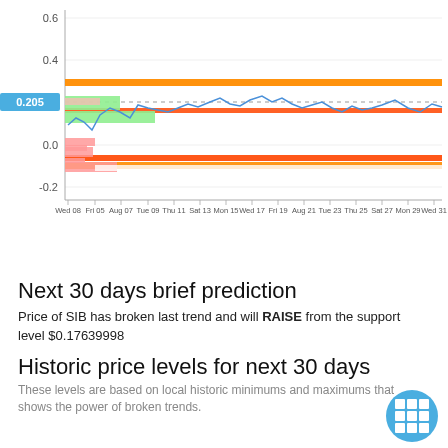[Figure (continuous-plot): Line and bar chart showing price data over dates from Wed 08 to Wed 31. Orange horizontal bands mark support/resistance levels around 0.3 and 0.1. A blue line fluctuates around 0.205 (marked with dashed line and blue label). Green and pink bars appear at the left. Y-axis ranges from -0.2 to 0.6. X-axis shows dates: Wed 08, Fri 05, Aug 07, Tue 09, Thu 11, Sat 13, Mon 15, Wed 17, Fri 19, Aug 21, Tue 23, Thu 25, Sat 27, Mon 29, Wed 31.]
Next 30 days brief prediction
Price of SIB has broken last trend and will RAISE from the support level $0.17639998
Historic price levels for next 30 days
These levels are based on local historic minimums and maximums that shows the power of broken trends.